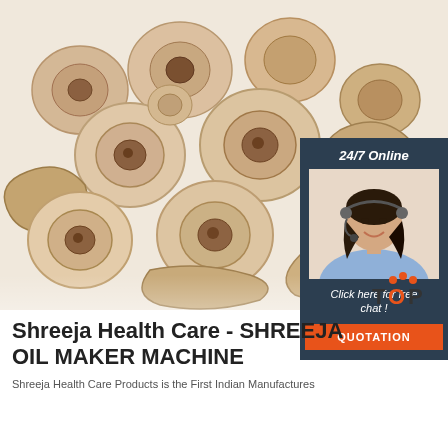[Figure (photo): Close-up photograph of dried herb/root slices (likely ashwagandha or similar medicinal root), showing circular cross-sections and irregular pieces in beige/tan colors on a white background]
[Figure (infographic): Chat widget overlay showing '24/7 Online' text, photo of female customer service agent with headset, 'Click here for free chat!' text, and orange QUOTATION button]
[Figure (logo): TOP logo with orange dots forming an arc above the letters]
Shreeja Health Care - SHREEJA OIL MAKER MACHINE
Shreeja Health Care Products is the First Indian Manufactures